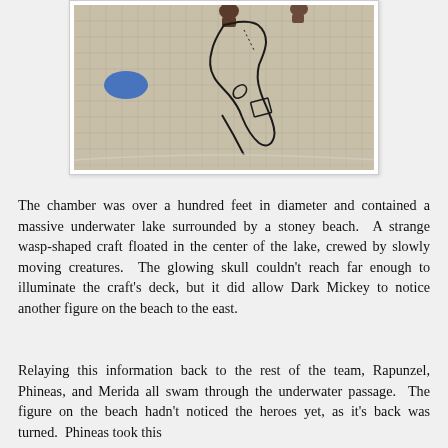[Figure (photo): Overhead photo of children drawing a large map or outline on a tiled floor with black marker. A blue disc/frisbee is visible on the left side.]
The chamber was over a hundred feet in diameter and contained a massive underwater lake surrounded by a stoney beach.  A strange wasp-shaped craft floated in the center of the lake, crewed by slowly moving creatures.  The glowing skull couldn't reach far enough to illuminate the craft's deck, but it did allow Dark Mickey to notice another figure on the beach to the east.
Relaying this information back to the rest of the team, Rapunzel, Phineas, and Merida all swam through the underwater passage.  The figure on the beach hadn't noticed the heroes yet, as it's back was turned.  Phineas took this